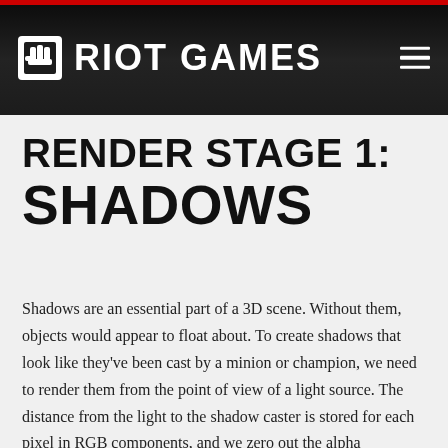RIOT GAMES
RENDER STAGE 1: SHADOWS
Shadows are an essential part of a 3D scene. Without them, objects would appear to float about. To create shadows that look like they've been cast by a minion or champion, we need to render them from the point of view of a light source. The distance from the light to the shadow caster is stored for each pixel in RGB components, and we zero out the alpha component. This can be seen below. On the left we have the RGB shadow height field of a besieged tower, minions, and